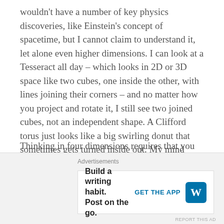wouldn't have a number of key physics discoveries, like Einstein's concept of spacetime, but I cannot claim to understand it, let alone even higher dimensions. I can look at a Tesseract all day – which looks in 2D or 3D space like two cubes, one inside the other, with lines joining their corners – and no matter how you project and rotate it, I still see two joined cubes, not an independent shape. A Clifford torus just looks like a big swirling donut that sometimes gets turned inside out. My mind does not work spatially in 4D; the shapes just seem impossible.
Thinking in four dimensions requires that you
[Figure (other): Advertisement banner: 'Build a writing habit. Post on the go.' with GET THE APP button and WordPress logo]